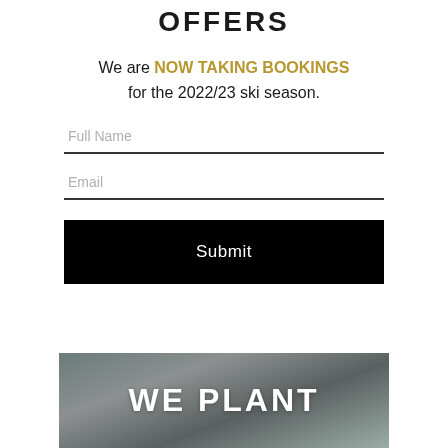OFFERS
We are NOW TAKING BOOKINGS for the 2022/23 ski season.
[Figure (screenshot): Web form with Full Name and Email input fields and a black Submit button]
[Figure (photo): Blurred outdoor/nature image with bold white text 'WE PLANT' overlaid]